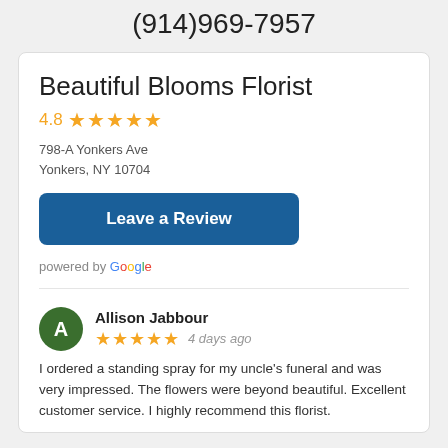(914)969-7957
Beautiful Blooms Florist
4.8 ★★★★★
798-A Yonkers Ave
Yonkers, NY 10704
Leave a Review
powered by Google
Allison Jabbour
★★★★★  4 days ago
I ordered a standing spray for my uncle's funeral and was very impressed. The flowers were beyond beautiful. Excellent customer service. I highly recommend this florist.